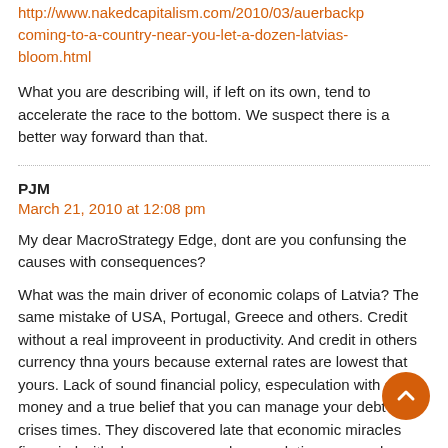http://www.nakedcapitalism.com/2010/03/auerbackp coming-to-a-country-near-you-let-a-dozen-latvias-bloom.html
What you are describing will, if left on its own, tend to accelerate the race to the bottom. We suspect there is a better way forward than that.
PJM
March 21, 2010 at 12:08 pm
My dear MacroStrategy Edge, dont are you confunsing the causes with consequences?
What was the main driver of economic colaps of Latvia? The same mistake of USA, Portugal, Greece and others. Credit without a real improveent in productivity. And credit in others currency thna yours because external rates are lowest that yours. Lack of sound financial policy, especulation with cheap money and a true belief that you can manage your debt in crises times. They discovered late that economic miracles financied with cheap money and especulation are sand castles. The same in Ice…
At least in Portugal we discovered before we